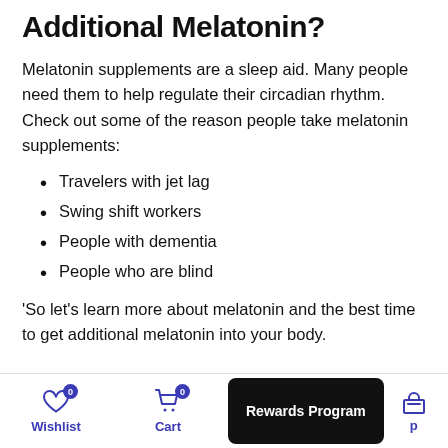Additional Melatonin?
Melatonin supplements are a sleep aid. Many people need them to help regulate their circadian rhythm. Check out some of the reason people take melatonin supplements:
Travelers with jet lag
Swing shift workers
People with dementia
People who are blind
'So let's learn more about melatonin and the best time to get additional melatonin into your body.
Wishlist  Cart  Rewards Program  Shop